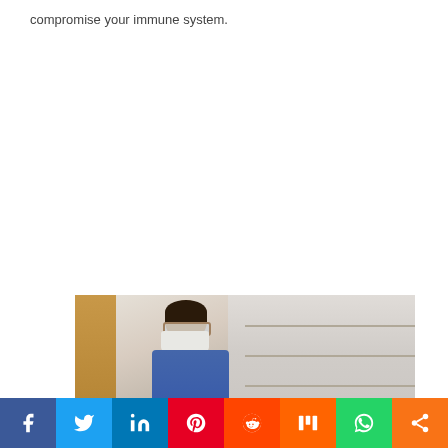compromise your immune system.
[Figure (photo): A person wearing a face mask and safety glasses in a laboratory setting, with shelves of lab equipment in the background.]
Social sharing bar with icons for Facebook, Twitter, LinkedIn, Pinterest, Reddit, Mix, WhatsApp, and Share